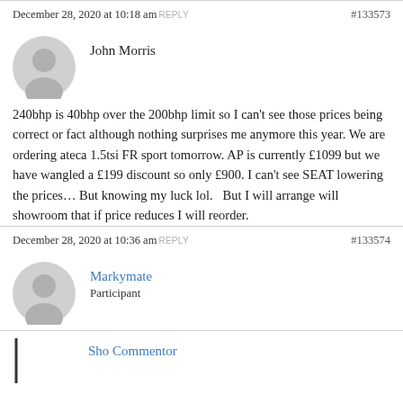December 28, 2020 at 10:18 am REPLY #133573
John Morris
240bhp is 40bhp over the 200bhp limit so I can't see those prices being correct or fact although nothing surprises me anymore this year. We are ordering ateca 1.5tsi FR sport tomorrow. AP is currently £1099 but we have wangled a £199 discount so only £900. I can't see SEAT lowering the prices... But knowing my luck lol.   But I will arrange will showroom that if price reduces I will reorder.
December 28, 2020 at 10:36 am REPLY #133574
Markymate
Participant